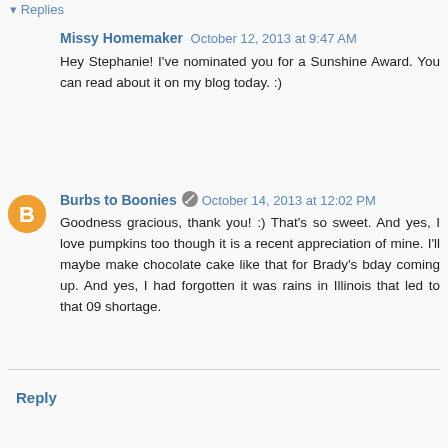▾ Replies
Missy Homemaker  October 12, 2013 at 9:47 AM
Hey Stephanie! I've nominated you for a Sunshine Award. You can read about it on my blog today. :)
Burbs to Boonies  October 14, 2013 at 12:02 PM
Goodness gracious, thank you! :) That's so sweet. And yes, I love pumpkins too though it is a recent appreciation of mine. I'll maybe make chocolate cake like that for Brady's bday coming up. And yes, I had forgotten it was rains in Illinois that led to that 09 shortage.
Reply